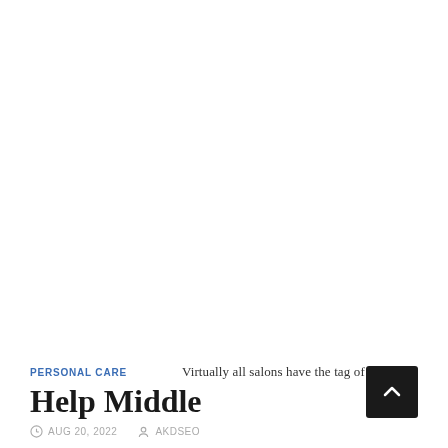PERSONAL CARE    Virtually all salons have the tag of the ver
Help Middle
AUG 20, 2022    AKDSEO